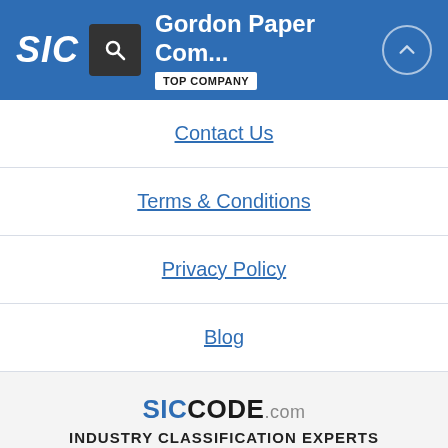Gordon Paper Com… TOP COMPANY
Contact Us
Terms & Conditions
Privacy Policy
Blog
SICCODE.com INDUSTRY CLASSIFICATION EXPERTS Copyright 2022 © SICCODE.com